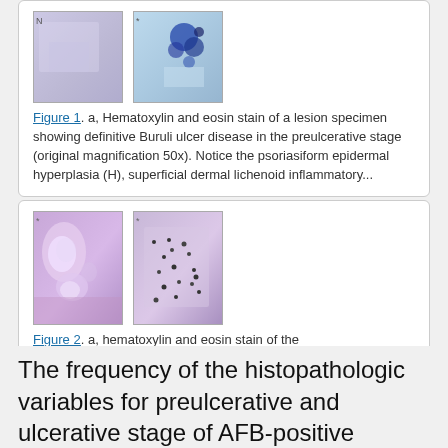[Figure (photo): Two microscopy images side by side: a) Hematoxylin and eosin stain of lesion specimen (preulcerative stage, 50x), b) microscopy image showing dark stained clusters]
Figure 1. a, Hematoxylin and eosin stain of a lesion specimen showing definitive Buruli ulcer disease in the preulcerative stage (original magnification 50x). Notice the psoriasiform epidermal hyperplasia (H), superficial dermal lichenoid inflammatory...
[Figure (photo): Two microscopy images side by side: a) hematoxylin and eosin stain showing pseudoepitheliomatous hyperplasia of the epidermis (ulcerative stage, 100x), b) higher magnification with dark inflammatory cells]
Figure 2. a, hematoxylin and eosin stain of the pseudoepitheliomatous hyperplasia of the epidermis in a lesion specimen showing definitive Buruli ulcer disease in the ulcerative stage (original magnification 100x). b, hematoxylin and...
The frequency of the histopathologic variables for preulcerative and ulcerative stage of AFB-positive